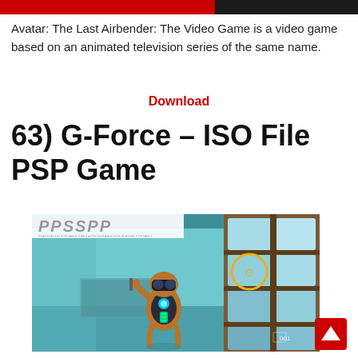Avatar: The Last Airbender: The Video Game is a video game based on an animated television series of the same name.
Download
63) G-Force – ISO File PSP Game
[Figure (screenshot): PPSSPP emulator screenshot showing G-Force game — a guinea pig character in a blue sci-fi environment with a PSP logo-style door]
[Figure (other): Back to top arrow button]